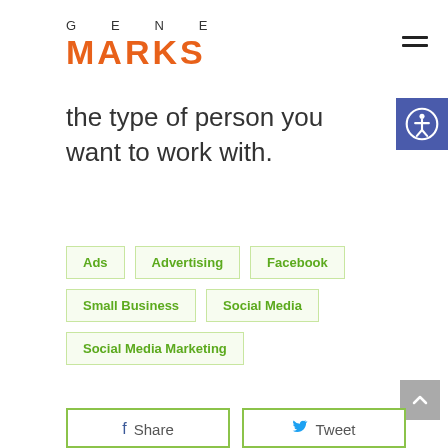[Figure (logo): Gene Marks logo: 'GENE' in spaced gray letters above 'MARKS' in large bold orange letters]
the type of person you want to work with.
Ads
Advertising
Facebook
Small Business
Social Media
Social Media Marketing
Share
Tweet